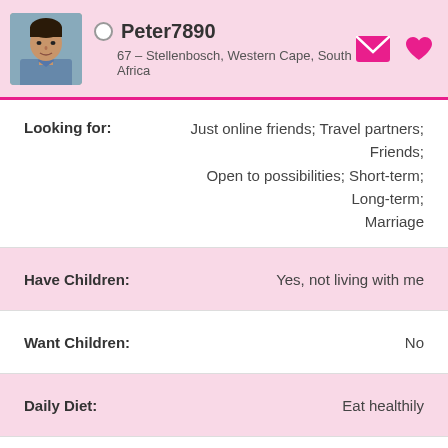Peter7890 — 67 – Stellenbosch, Western Cape, South Africa
Looking for: Just online friends; Travel partners; Friends; Open to possibilities; Short-term; Long-term; Marriage
| Attribute | Value |
| --- | --- |
| Have Children: | Yes, not living with me |
| Want Children: | No |
| Daily Diet: | Eat healthily |
| Smoking: | Non-Smoker |
| Drinking: | Occasional Drinker |
| Education: | Postgraduate degree |